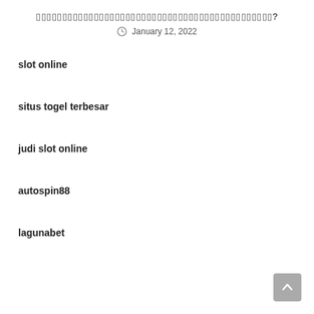▯▯▯▯▯▯▯▯▯▯▯▯▯▯▯▯▯▯▯▯▯▯▯▯▯▯▯▯▯▯▯▯▯▯▯▯▯▯▯▯▯▯▯▯▯?
January 12, 2022
slot online
situs togel terbesar
judi slot online
autospin88
lagunabet